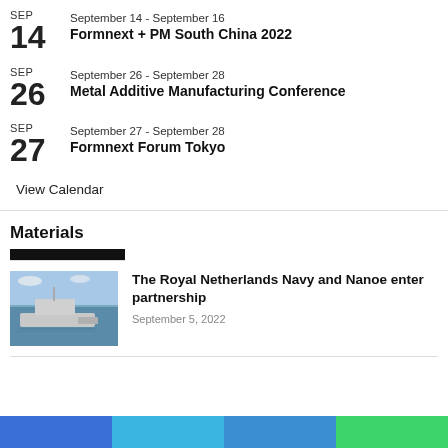SEP 14 | September 14 - September 16 | Formnext + PM South China 2022
SEP 26 | September 26 - September 28 | Metal Additive Manufacturing Conference
SEP 27 | September 27 - September 28 | Formnext Forum Tokyo
View Calendar
Materials
[Figure (photo): Naval vessel at sea, aerial or side view with another small vessel nearby]
The Royal Netherlands Navy and Nanoe enter partnership
September 5, 2022